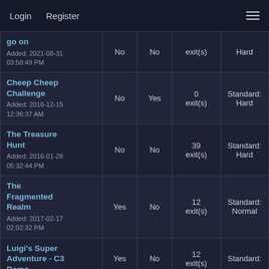Login   Register
| Name/Added |  |  | exit(s) | Difficulty |
| --- | --- | --- | --- | --- |
| go on
Added: 2021-08-31 03:58:49 PM | No | No | exit(s) | Hard |
| Cheep Cheep Challenge
Added: 2016-12-15 12:36:37 AM | No | Yes | 0 exit(s) | Standard: Hard |
| The Treasure Hunt
Added: 2016-01-28 05:32:44 PM | No | No | 39 exit(s) | Standard: Hard |
| The Fragmented Realm
Added: 2017-02-17 02:02:32 PM | Yes | No | 12 exit(s) | Standard: Normal |
| Luigi's Super Adventure - C3 Demo | Yes | No | 12 exit(s) | Standard: |